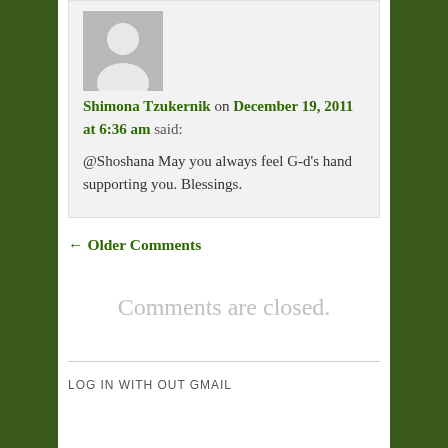[Figure (illustration): Gray silhouette avatar placeholder image for user profile picture]
Shimona Tzukernik on December 19, 2011 at 6:36 am said:
@Shoshana May you always feel G-d's hand supporting you. Blessings.
← Older Comments
Comments are closed.
LOG IN WITH OUT GMAIL